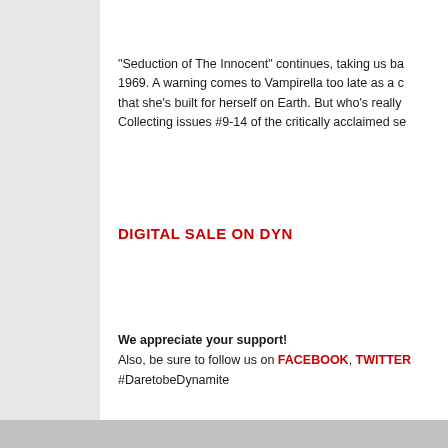"Seduction of The Innocent" continues, taking us ba... 1969. A warning comes to Vampirella too late as a c... that she's built for herself on Earth. But who's really... Collecting issues #9-14 of the critically acclaimed se...
DIGITAL SALE ON DYN...
We appreciate your support! Also, be sure to follow us on FACEBOOK, TWITTER #DaretobeDynamite